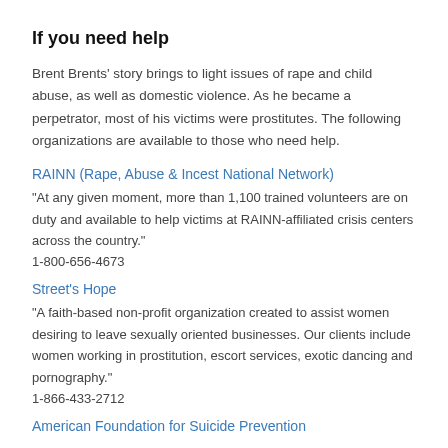If you need help
Brent Brents' story brings to light issues of rape and child abuse, as well as domestic violence. As he became a perpetrator, most of his victims were prostitutes. The following organizations are available to those who need help.
RAINN (Rape, Abuse & Incest National Network)
"At any given moment, more than 1,100 trained volunteers are on duty and available to help victims at RAINN-affiliated crisis centers across the country."
1-800-656-4673
Street's Hope
"A faith-based non-profit organization created to assist women desiring to leave sexually oriented businesses. Our clients include women working in prostitution, escort services, exotic dancing and pornography."
1-866-433-2712
American Foundation for Suicide Prevention